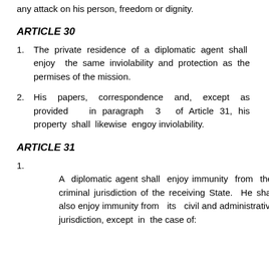any attack on his person, freedom or dignity.
ARTICLE 30
1.   The private residence of a diplomatic agent shall enjoy the same inviolability and protection as the permises of the mission.
2.   His papers, correspondence and, except as provided in paragraph 3 of Article 31, his property shall likewise engoy inviolability.
ARTICLE 31
1.   A diplomatic agent shall enjoy immunity from the criminal jurisdiction of the receiving State. He shall also enjoy immunity from its civil and administrative jurisdiction, except in the case of: